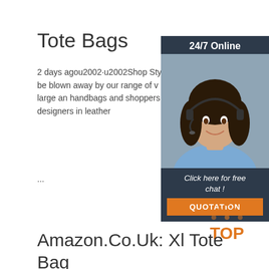Tote Bags
2 days agou2002·u2002Shop Style: Tote Bags. You'll be blown away by our range of black tote bags. With large and handbags and shoppers from favourite designers in leather ...
[Figure (screenshot): Chat widget with '24/7 Online' header, photo of woman with headset, 'Click here for free chat!' text, and QUOTATION button]
[Figure (logo): TOP logo with orange dots triangle and orange text]
Amazon.Co.Uk: Xl Tote Bag